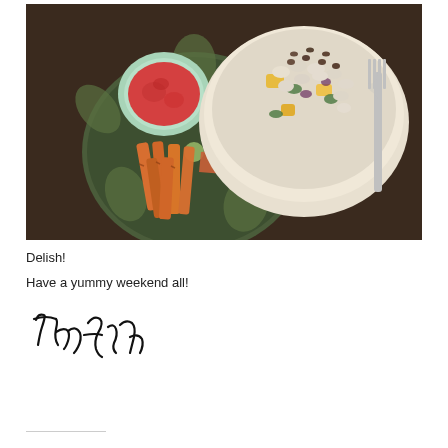[Figure (photo): Overhead photo of a meal on a dark table: a decorative plate with sweet potato fries, spiced chips, and a small bowl of ketchup/red sauce; next to it a white bowl filled with a bean and vegetable salad topped with pumpkin seeds; a fork rests to the right.]
Delish!
Have a yummy weekend all!
[Figure (illustration): Handwritten signature reading 'Tasha' in cursive script.]